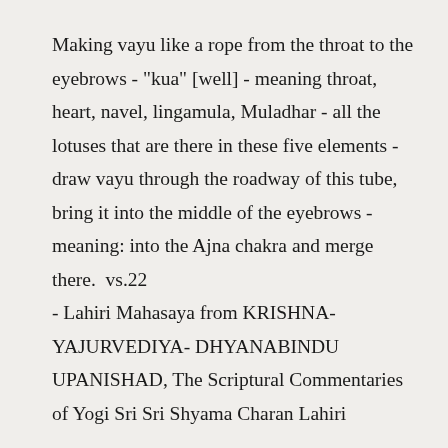Making vayu like a rope from the throat to the eyebrows - "kua" [well] - meaning throat, heart, navel, lingamula, Muladhar - all the lotuses that are there in these five elements - draw vayu through the roadway of this tube, bring it into the middle of the eyebrows - meaning: into the Ajna chakra and merge there.  vs.22
- Lahiri Mahasaya from KRISHNA-YAJURVEDIYA- DHYANABINDU UPANISHAD, The Scriptural Commentaries of Yogi Sri Sri Shyama Charan Lahiri